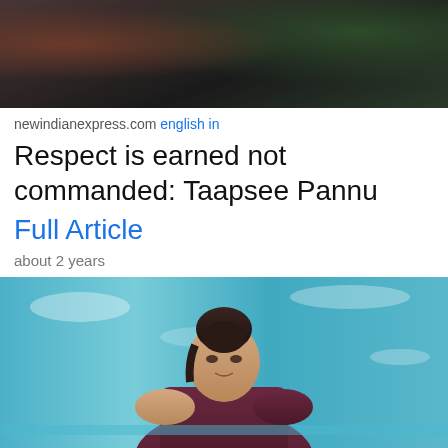[Figure (photo): Top portion of a photo showing a person in dark clothing, partially visible]
newindianexpress.com english in
Respect is earned not commanded: Taapsee Pannu
Full Article
about 2 years
[Figure (photo): Taapsee Pannu in a maroon/dark purple sports top in a swimming pool with blue water]
news18.com english in